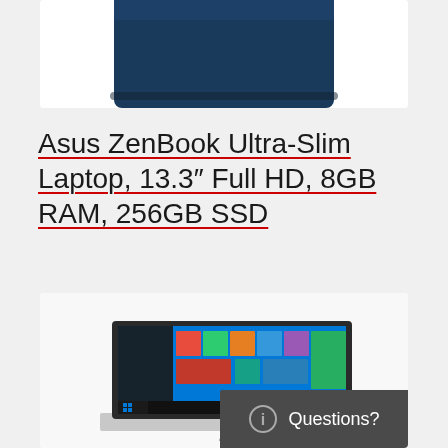[Figure (photo): Top portion of a dark navy blue ASUS ZenBook laptop lid, partially visible at the top of the page]
Asus ZenBook Ultra-Slim Laptop, 13.3″ Full HD, 8GB RAM, 256GB SSD
[Figure (photo): ASUS ZenBook laptop open showing Windows 10 Start screen on display, with ASUS logo visible at bottom]
Questions?